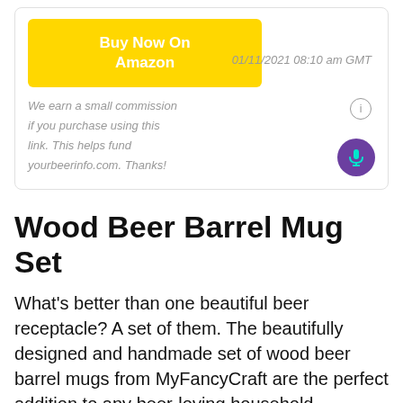[Figure (other): Yellow 'Buy Now On Amazon' button inside a card with border]
We earn a small commission if you purchase using this link. This helps fund yourbeerinfo.com. Thanks!
01/11/2021 08:10 am GMT
Wood Beer Barrel Mug Set
What's better than one beautiful beer receptacle? A set of them. The beautifully designed and handmade set of wood beer barrel mugs from MyFancyCraft are the perfect addition to any beer-loving household.